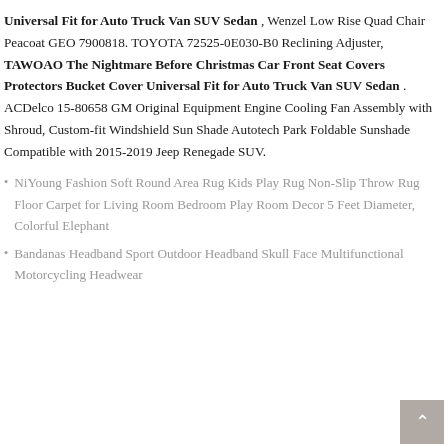Universal Fit for Auto Truck Van SUV Sedan , Wenzel Low Rise Quad Chair Peacoat GEO 7900818. TOYOTA 72525-0E030-B0 Reclining Adjuster, TAWOAO The Nightmare Before Christmas Car Front Seat Covers Protectors Bucket Cover Universal Fit for Auto Truck Van SUV Sedan . ACDelco 15-80658 GM Original Equipment Engine Cooling Fan Assembly with Shroud, Custom-fit Windshield Sun Shade Autotech Park Foldable Sunshade Compatible with 2015-2019 Jeep Renegade SUV.
NiYoung Fashion Soft Round Area Rug Kids Play Rug Non-Slip Throw Rug Floor Carpet for Living Room Bedroom Play Room Decor 5 Feet Diameter, Colorful Elephant
Bandanas Headband Sport Outdoor Headband Skull Face Multifunctional Motorcycling Headwear